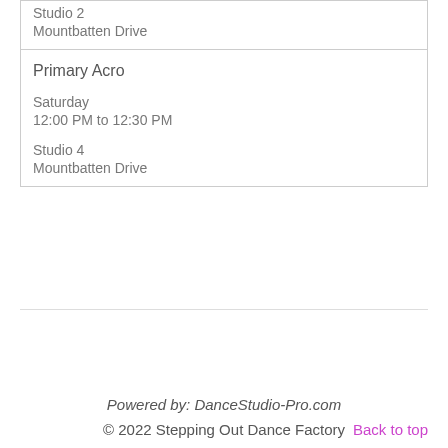| Studio 2
Mountbatten Drive |
| Primary Acro

Saturday
12:00 PM to 12:30 PM

Studio 4
Mountbatten Drive |
Powered by: DanceStudio-Pro.com
© 2022 Stepping Out Dance Factory
Back to top